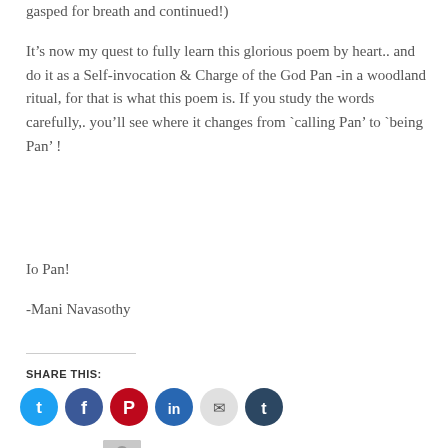gasped for breath and continued!)
It’s now my quest to fully learn this glorious poem by heart.. and do it as a Self-invocation & Charge of the God Pan -in a woodland ritual, for that is what this poem is. If you study the words carefully,. you’ll see where it changes from `calling Pan’ to `being Pan’ !
Io Pan!
-Mani Navasothy
SHARE THIS:
[Figure (infographic): Six social sharing icon circles: Twitter (light blue), Facebook (blue), Pinterest (dark red/crimson), LinkedIn (medium blue), Email (light gray), Tumblr (dark navy)]
[Figure (infographic): Like button widget with star icon and label 'Like', next to a small blogger avatar thumbnail]
One blogger likes this.
tagged god, charge, god invocation, horned god, hymn to pan